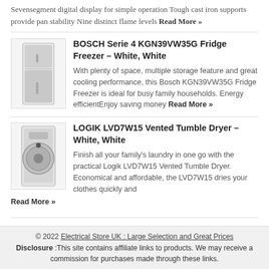Sevensegment digital display for simple operation Tough cast iron supports provide pan stability Nine distinct flame levels Read More »
[Figure (photo): White fridge freezer product image]
BOSCH Serie 4 KGN39VW35G Fridge Freezer – White, White
With plenty of space, multiple storage feature and great cooling performance, this Bosch KGN39VW35G Fridge Freezer is ideal for busy family households. Energy efficientEnjoy saving money Read More »
[Figure (photo): White tumble dryer product image]
LOGIK LVD7W15 Vented Tumble Dryer – White, White
Finish all your family's laundry in one go with the practical Logik LVD7W15 Vented Tumble Dryer. Economical and affordable, the LVD7W15 dries your clothes quickly and Read More »
© 2022 Electrical Store UK : Large Selection and Great Prices
Disclosure :This site contains affiliate links to products. We may receive a commission for purchases made through these links.